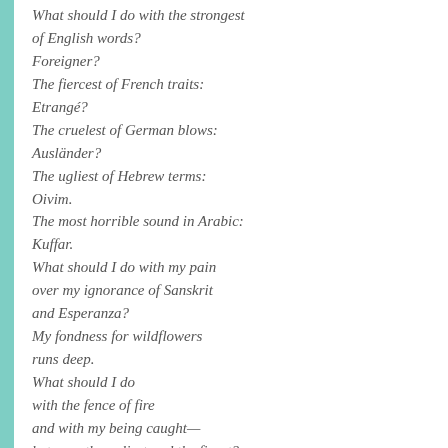What should I do with the strongest of English words? Foreigner? The fiercest of French traits: Etrangé? The cruelest of German blows: Ausländer? The ugliest of Hebrew terms: Oivim. The most horrible sound in Arabic: Kuffar. What should I do with my pain over my ignorance of Sanskrit and Esperanza? My fondness for wildflowers runs deep. What should I do with the fence of fire and with my being caught— between the ugliest and the finest? What should I do?